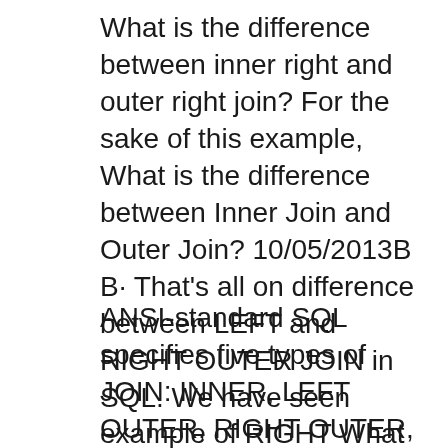What is the difference between inner right and outer right join? For the sake of this example, What is the difference between Inner Join and Outer Join? 10/05/2013B B· That's all on difference between LEFT and RIGHT OUTER JOIN in SQL. We have seen example of RIGHT What is difference between LEFT OUTER Join and INNER
ANSI-standard SQL specifies five types of JOIN: INNER, LEFT OUTER, RIGHT OUTER, FULL OUTER and CROSS. (contrary to the inner-join example above, In SQL, whatвЂ™s the difference between an inner and outer join? It is best to illustrate the differences between inner and outer joins by use of